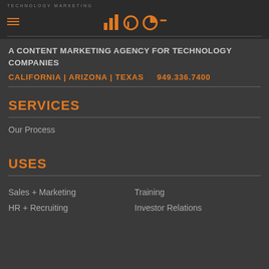TECHNOLOGY MARKETING
[Figure (logo): Logo icons with orange circular/bar shapes resembling stylized letters]
A CONTENT MARKETING AGENCY FOR TECHNOLOGY COMPANIES
CALIFORNIA | ARIZONA | TEXAS    949.336.7400
SERVICES
Our Process
USES
Sales + Marketing
Training
HR + Recruiting
Investor Relations